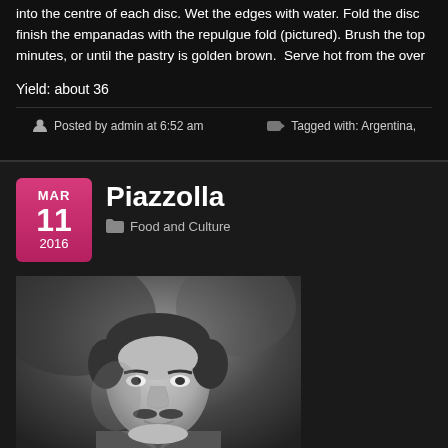into the centre of each disc. Wet the edges with water. Fold the disc... finish the empanadas with the repulgue fold (pictured). Brush the top... minutes, or until the pastry is golden brown. Serve hot from the oven...
Yield: about 36
Posted by admin at 6:52 am
Tagged with: Argentina,
Piazzolla
Food and Culture
[Figure (photo): Black and white portrait photograph of a man with a mustache, appears to be Astor Piazzolla]